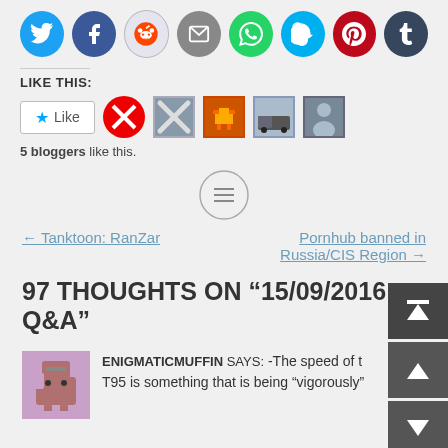[Figure (infographic): Row of social media sharing icon circles: Twitter (blue), Facebook (dark blue), Reddit (light/white), Email (gray), WhatsApp (green), Skype (light blue), Pinterest (red), Tumblr (dark navy)]
LIKE THIS:
[Figure (infographic): Like button with blue star icon and text 'Like', followed by 5 blogger avatar thumbnails]
5 bloggers like this.
[Figure (other): Circle icon with three horizontal lines (menu/content icon)]
← Tanktoon: RanZar
Pornhub banned in Russia/CIS Region →
97 THOUGHTS ON "15/09/2016 Q&A"
ENIGMATICMUFFIN SAYS: -The speed of the T95 is something that is being "vigorously"